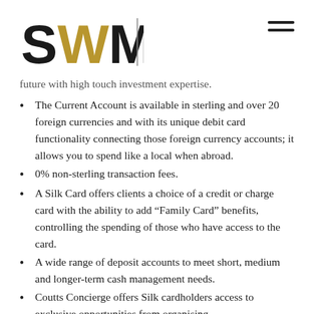SWM logo and navigation
future with high touch investment expertise.
The Current Account is available in sterling and over 20 foreign currencies and with its unique debit card functionality connecting those foreign currency accounts; it allows you to spend like a local when abroad.
0% non-sterling transaction fees.
A Silk Card offers clients a choice of a credit or charge card with the ability to add “Family Card” benefits, controlling the spending of those who have access to the card.
A wide range of deposit accounts to meet short, medium and longer-term cash management needs.
Coutts Concierge offers Silk cardholders access to exclusive opportunities from organising